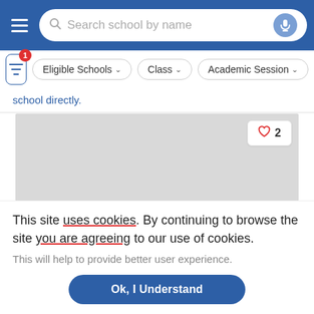Search school by name
Eligible Schools  Class  Academic Session
school directly.
[Figure (screenshot): Gray placeholder card area with a heart/like button showing '2' and a green 'Admission On Going' badge in the bottom right]
This site uses cookies. By continuing to browse the site you are agreeing to our use of cookies.
This will help to provide better user experience.
Ok, I Understand